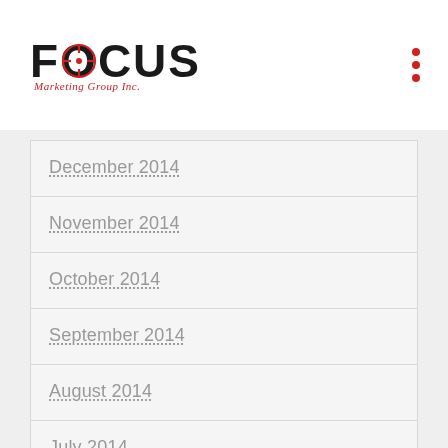FOCUS Marketing Group Inc.
December 2014
November 2014
October 2014
September 2014
August 2014
July 2014
June 2014
May 2014
April 2014